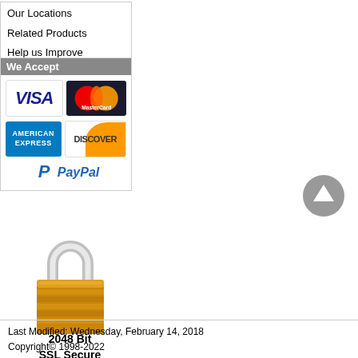Our Locations
Related Products
Help us Improve
We Accept
[Figure (infographic): Payment method logos: VISA, MasterCard, American Express, Discover, PayPal]
[Figure (illustration): Gold padlock with silver shackle representing SSL security. Text: 2048 Bit SSL Secure. Link: Click to Verify]
2048 Bit
SSL Secure
Click to Verify
[Figure (other): Gray circular back-to-top arrow button]
Last Modified: Wednesday, February 14, 2018
Copyright© 1998-2022